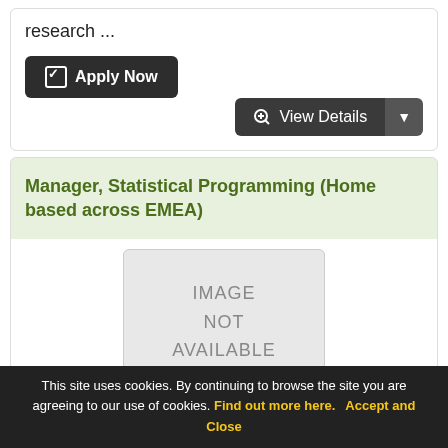research ...
Apply Now
View Details
Manager, Statistical Programming (Home based across EMEA)
[Figure (other): Image not available placeholder — grey rectangle with text IMAGE NOT AVAILABLE]
This site uses cookies. By continuing to browse the site you are agreeing to our use of cookies. Find out more here. Accept and Close